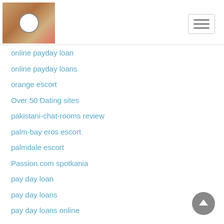[Figure (logo): Website logo with food/cooking theme image on wooden background with circular badge]
online payday loan
online payday loans
orange escort
Over 50 Dating sites
pakistani-chat-rooms review
palm-bay eros escort
palmdale escort
Passion.com spotkania
pay day loan
pay day loans
pay day loans online